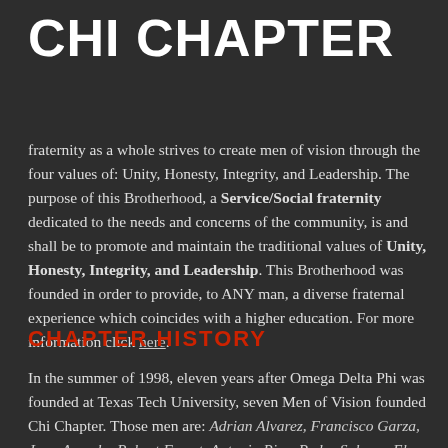CHI CHAPTER
fraternity as a whole strives to create men of vision through the four values of: Unity, Honesty, Integrity, and Leadership. The purpose of this Brotherhood, a Service/Social fraternity dedicated to the needs and concerns of the community, is and shall be to promote and maintain the traditional values of Unity, Honesty, Integrity, and Leadership. This Brotherhood was founded in order to provide, to ANY man, a diverse fraternal experience which coincides with a higher education. For more information click here.
CHAPTER HISTORY
In the summer of 1998, eleven years after Omega Delta Phi was founded at Texas Tech University, seven Men of Vision founded Chi Chapter. Those men are: Adrian Alvarez, Francisco Garza, Juan Arreola, Robert Femat, Antonio Rios, Pedro Salazar, Eloy Vela Thanks to the hard work of these gentlemen, the Chi Chapter enjoys a rich tradition of service, brotherhood, and social experiences. Their sacrifices have molded over a decade of